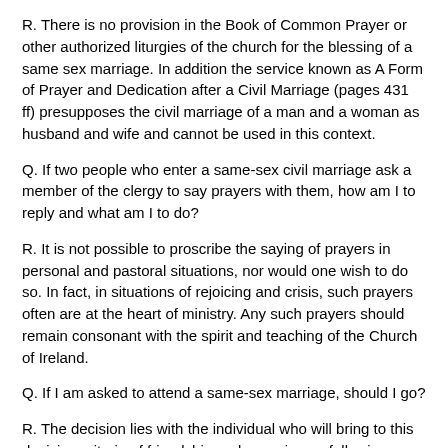R. There is no provision in the Book of Common Prayer or other authorized liturgies of the church for the blessing of a same sex marriage. In addition the service known as A Form of Prayer and Dedication after a Civil Marriage (pages 431 ff) presupposes the civil marriage of a man and a woman as husband and wife and cannot be used in this context.
Q. If two people who enter a same-sex civil marriage ask a member of the clergy to say prayers with them, how am I to reply and what am I to do?
R. It is not possible to proscribe the saying of prayers in personal and pastoral situations, nor would one wish to do so. In fact, in situations of rejoicing and crisis, such prayers often are at the heart of ministry. Any such prayers should remain consonant with the spirit and teaching of the Church of Ireland.
Q. If I am asked to attend a same-sex marriage, should I go?
R. The decision lies with the individual who will bring to this decision criteria of friendship and conscience, following